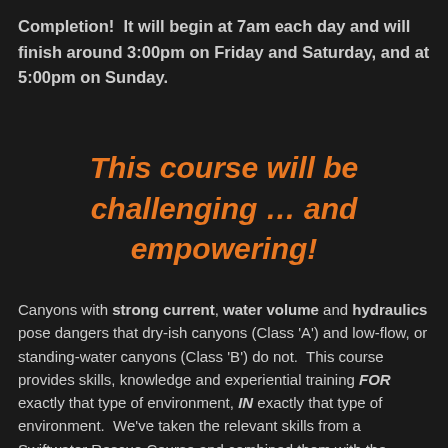Completion!  It will begin at 7am each day and will finish around 3:00pm on Friday and Saturday, and at 5:00pm on Sunday.
This course will be challenging … and empowering!
Canyons with strong current, water volume and hydraulics pose dangers that dry-ish canyons (Class 'A') and low-flow, or standing-water canyons (Class 'B') do not.  This course provides skills, knowledge and experiential training FOR exactly that type of environment, IN exactly that type of environment.  We've taken the relevant skills from a Swiftwater Rescue Course and combined them with the relevant skills for Canyoneering in Class 'C' canyons and have